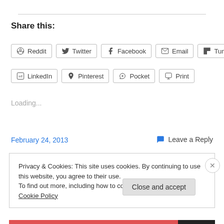Share this:
Reddit  Twitter  Facebook  Email  Tumblr
LinkedIn  Pinterest  Pocket  Print
Loading...
February 24, 2013
Leave a Reply
Privacy & Cookies: This site uses cookies. By continuing to use this website, you agree to their use.
To find out more, including how to control cookies, see here: Cookie Policy